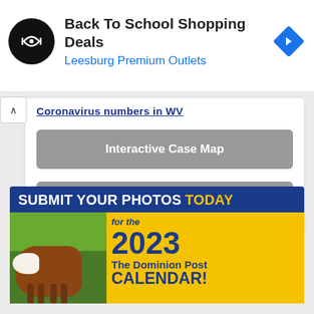[Figure (screenshot): Advertisement banner for Back To School Shopping Deals at Leesburg Premium Outlets, showing a circular black logo with arrows icon, blue directions arrow diamond icon, and ad close/skip controls]
Coronavirus numbers in WV
Interactive Case Map
WV DHHR COVID-19 Cases
[Figure (screenshot): Calendar promotional ad: 'SUBMIT YOUR PHOTOS TODAY for the 2023 The Dominion Post CALENDAR!' with a Hereford cow on green grass background, blue and yellow colors]